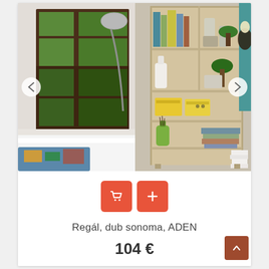[Figure (photo): Product photo of a tall wooden bookshelf (ADEN model, dub sonoma finish) displayed in a modern living room setting with books, vases, plants, and yellow storage boxes on the shelves. Room has large windows with green trees visible outside and a white desk in the foreground.]
[Figure (other): Two red rounded square buttons: a shopping cart icon and a plus icon]
Regál, dub sonoma, ADEN
104 €